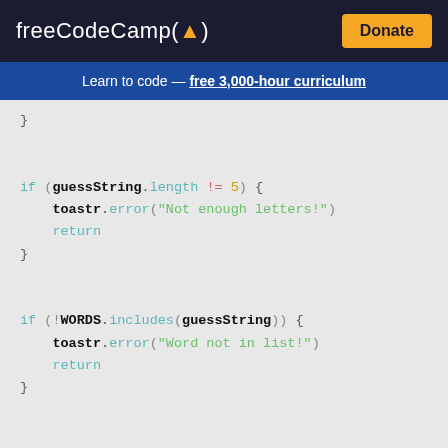freeCodeCamp(🔥) Donate
Learn to code — free 3,000-hour curriculum
[Figure (screenshot): Code snippet showing JavaScript with if/if/for blocks: closing brace, if (guessString.length != 5) { toastr.error("Not enough letters!") return }, if (!WORDS.includes(guessString)) { toastr.error("Word not in list!") return }, for (let i = 0; i < 5; i++) { let letterColor = '' let box = row.children[i] let letter = currentGuess[i]]